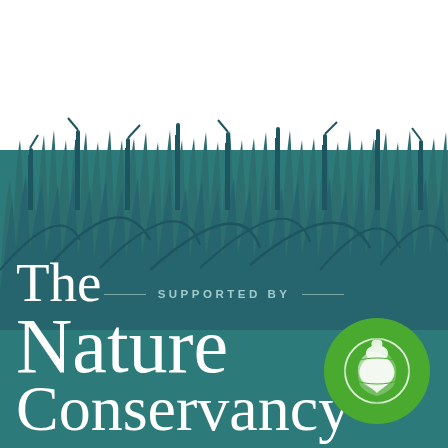[Figure (illustration): Silhouette of cattail reeds and marsh grasses against a teal/dark cyan background, transitioning from white sky at top to teal water/ground below]
SUPPORTED BY
[Figure (logo): The Nature Conservancy logo — green circle with white leaf/globe design]
The Nature Conservancy